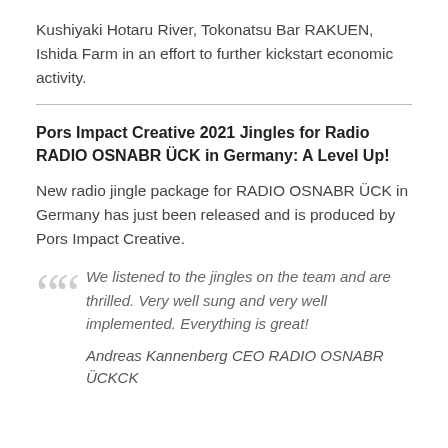Kushiyaki Hotaru River, Tokonatsu Bar RAKUEN, Ishida Farm in an effort to further kickstart economic activity.
Pors Impact Creative 2021 Jingles for Radio RADIO OSNABR ÜCK in Germany: A Level Up!
New radio jingle package for RADIO OSNABR ÜCK in Germany has just been released and is produced by Pors Impact Creative.
We listened to the jingles on the team and are thrilled. Very well sung and very well implemented. Everything is great!

Andreas Kannenberg CEO RADIO OSNABR ÜCKCK